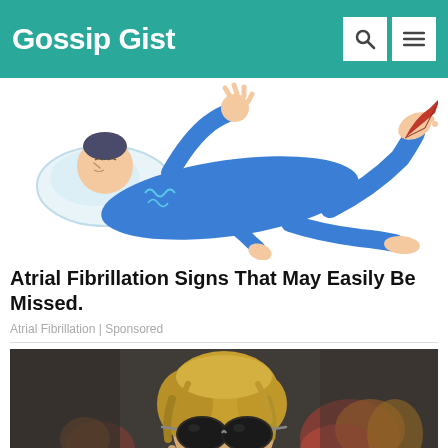Gossip Gist
[Figure (illustration): Cartoon illustration of a person in blue clothing lying on their back with arms raised, appearing to have a medical episode (atrial fibrillation symptoms)]
Atrial Fibrillation Signs That May Easily Be Missed.
Atrial Fibrillation | Sponsored
[Figure (photo): Photo of a woman with short blonde hair wearing sunglasses and a tank top, with a blurred fire/explosion background behind her]